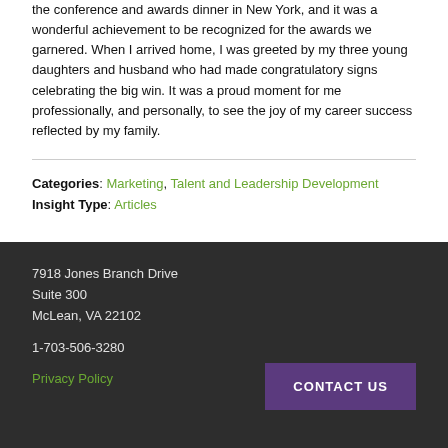the conference and awards dinner in New York, and it was a wonderful achievement to be recognized for the awards we garnered. When I arrived home, I was greeted by my three young daughters and husband who had made congratulatory signs celebrating the big win. It was a proud moment for me professionally, and personally, to see the joy of my career success reflected by my family.
Categories: Marketing, Talent and Leadership Development
Insight Type: Articles
7918 Jones Branch Drive
Suite 300
McLean, VA 22102

1-703-506-3280

Privacy Policy
CONTACT US
© 2022 HSMAI Americas | Design and Development by Bean Creative